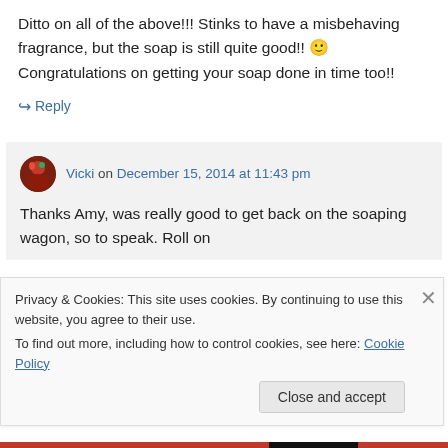Ditto on all of the above!!! Stinks to have a misbehaving fragrance, but the soap is still quite good!! 🙂 Congratulations on getting your soap done in time too!!
↪ Reply
Vicki on December 15, 2014 at 11:43 pm
Thanks Amy, was really good to get back on the soaping wagon, so to speak. Roll on
Privacy & Cookies: This site uses cookies. By continuing to use this website, you agree to their use.
To find out more, including how to control cookies, see here: Cookie Policy
Close and accept